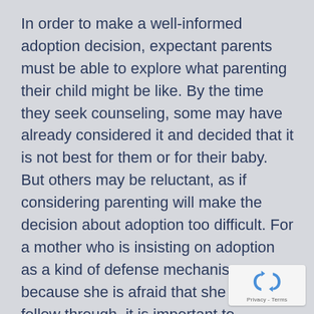In order to make a well-informed adoption decision, expectant parents must be able to explore what parenting their child might be like. By the time they seek counseling, some may have already considered it and decided that it is not best for them or for their baby. But others may be reluctant, as if considering parenting will make the decision about adoption too difficult. For a mother who is insisting on adoption as a kind of defense mechanism because she is afraid that she cannot follow through, it is important to introduce the idea of parenting gently, gradually, in order to have the kind of discussion that will best ens well-informed decision.
[Figure (logo): reCAPTCHA badge with 'Privacy - Terms' text]